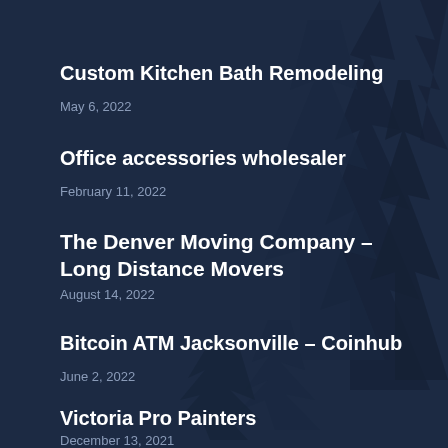Custom Kitchen Bath Remodeling
May 6, 2022
Office accessories wholesaler
February 11, 2022
The Denver Moving Company – Long Distance Movers
August 14, 2022
Bitcoin ATM Jacksonville – Coinhub
June 2, 2022
Victoria Pro Painters
December 13, 2021